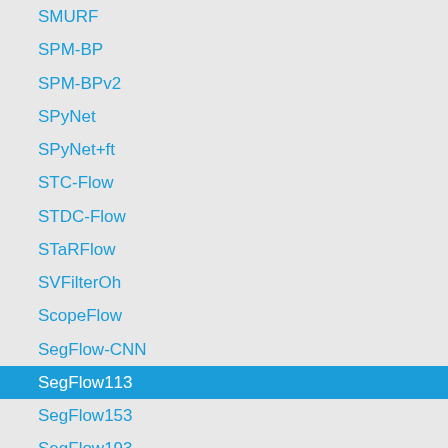SMURF
SPM-BP
SPM-BPv2
SPyNet
SPyNet+ft
STC-Flow
STDC-Flow
STaRFlow
SVFilterOh
ScopeFlow
SegFlow-CNN
SegFlow113
SegFlow153
SegFlow193
SegFlow33
SegFlow73
SegPM+Interpolation
SelFlow
SelFlow